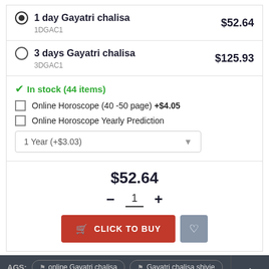1 day Gayatri chalisa 1DGAC1 $52.64
3 days Gayatri chalisa 3DGAC1 $125.93
In stock (44 items)
Online Horoscope (40 -50 page) +$4.05
Online Horoscope Yearly Prediction
1 Year (+$3.03)
$52.64
1
CLICK TO BUY
TAGS: online Gayatri chalisa  Gayatri chalisa shivie  ayatri chalisa benefits